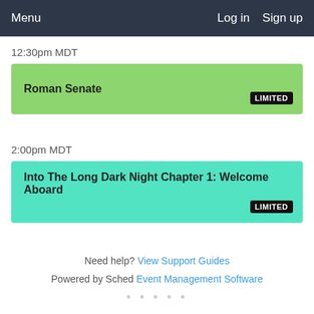Menu   Log in   Sign up
12:30pm MDT
Roman Senate   LIMITED
2:00pm MDT
Into The Long Dark Night Chapter 1: Welcome Aboard   LIMITED
Need help? View Support Guides
Powered by Sched Event Management Software